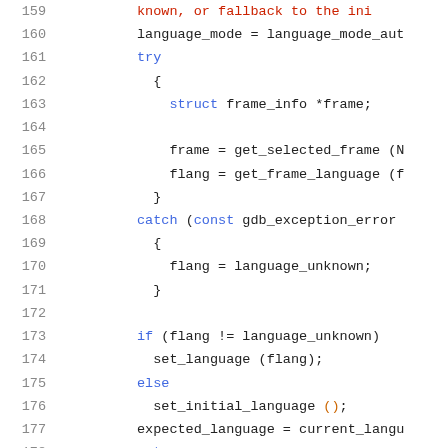[Figure (screenshot): Source code listing lines 159-180 showing C++ code with syntax highlighting. Lines include language_mode assignment, try/catch block with struct frame_info, get_selected_frame, get_frame_language calls, if/else logic for flang and language_unknown, set_language, set_initial_language, expected_language, return, and closing braces.]